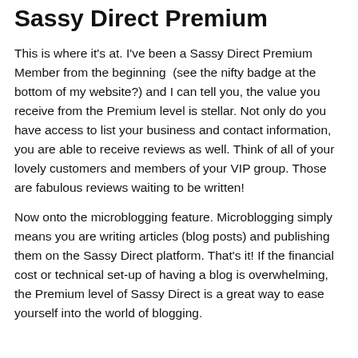Sassy Direct Premium
This is where it's at. I've been a Sassy Direct Premium Member from the beginning  (see the nifty badge at the bottom of my website?) and I can tell you, the value you receive from the Premium level is stellar. Not only do you have access to list your business and contact information, you are able to receive reviews as well. Think of all of your lovely customers and members of your VIP group. Those are fabulous reviews waiting to be written!
Now onto the microblogging feature. Microblogging simply means you are writing articles (blog posts) and publishing them on the Sassy Direct platform. That's it! If the financial cost or technical set-up of having a blog is overwhelming, the Premium level of Sassy Direct is a great way to ease yourself into the world of blogging.